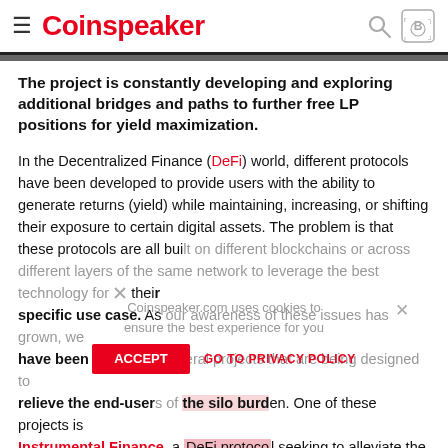Coinspeaker
The project is constantly developing and exploring additional bridges and paths to further free LP positions for yield maximization.
In the Decentralized Finance (DeFi) world, different protocols have been developed to provide users with the ability to generate returns (yield) while maintaining, increasing, or shifting their exposure to certain digital assets. The problem is that these protocols are all built on different blockchains or across different layers of the same network to leverage the best technology for their specific use case. As our awareness of these issues has grown, we have been exploring several projects that are being designed to relieve the end-users of the silo burden. One of these projects is Instrumental Finance, a DeFi protocol seeking to alleviate the blatant problems faced by liquidity providers (LPs) as they farm yield across different networks.
As we mentioned previously, a silo-effect enables projects to